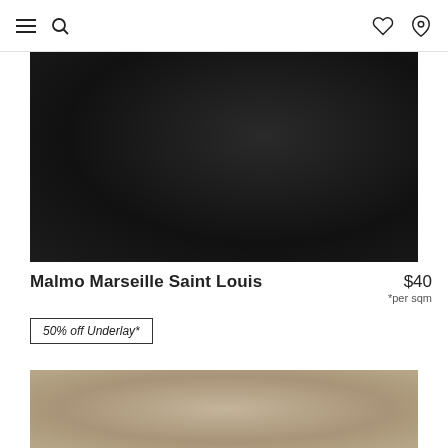Navigation header with menu, search, wishlist, and store locator icons
[Figure (photo): Close-up photo of dark charcoal/black carpet texture]
Malmo Marseille Saint Louis
$40 *per sqm
50% off Underlay*
[Figure (photo): Close-up photo of tan/beige carpet texture]